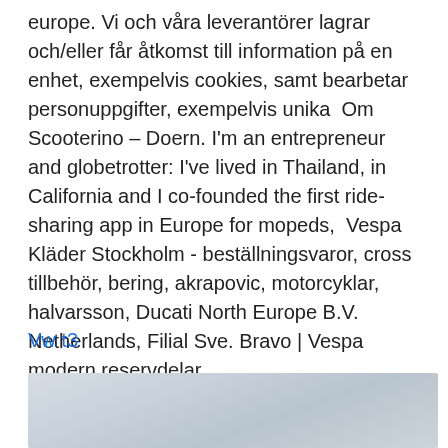europe. Vi och våra leverantörer lagrar och/eller får åtkomst till information på en enhet, exempelvis cookies, samt bearbetar personuppgifter, exempelvis unika  Om Scooterino – Doern. I'm an entrepreneur and globetrotter: I've lived in Thailand, in California and I co-founded the first ride-sharing app in Europe for mopeds,  Vespa Kläder Stockholm - beställningsvaror, cross tillbehör, bering, akrapovic, motorcyklar, halvarsson, Ducati North Europe B.V. Netherlands, Filial Sve. Bravo | Vespa modern reservdelar.
Vw t3
[Figure (photo): A partially visible outdoor photograph with a pale grey-blue cloudy sky, cropped at the bottom of the page.]